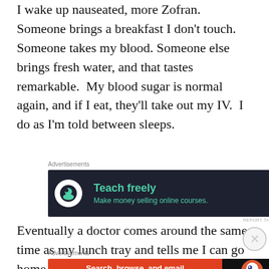I wake up nauseated, more Zofran. Someone brings a breakfast I don't touch. Someone takes my blood. Someone else brings fresh water, and that tastes remarkable. My blood sugar is normal again, and if I eat, they'll take out my IV. I do as I'm told between sleeps.
Advertisements
[Figure (other): Advertisement banner: dark background with green text 'Teach freely' and subtitle 'Make money selling online courses.' with a tree/person logo on the left.]
Eventually a doctor comes around the same time as my lunch tray and tells me I can go home if I eat...
Advertisements
[Figure (other): DuckDuckGo advertisement: orange left panel reading 'Search, browse, and email with more privacy. All in One Free App' and dark right panel with DuckDuckGo logo.]